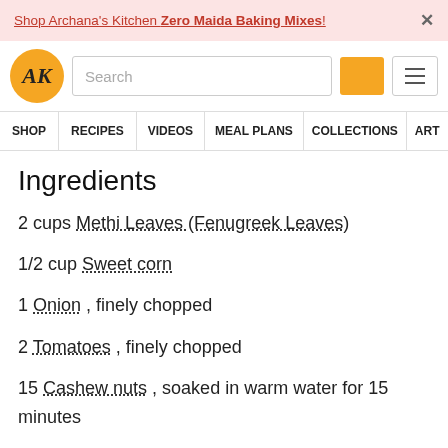Shop Archana's Kitchen Zero Maida Baking Mixes!
[Figure (logo): AK logo - gold circle with AK initials]
SHOP | RECIPES | VIDEOS | MEAL PLANS | COLLECTIONS | ART
Ingredients
2 cups Methi Leaves (Fenugreek Leaves)
1/2 cup Sweet corn
1 Onion , finely chopped
2 Tomatoes , finely chopped
15 Cashew nuts , soaked in warm water for 15 minutes